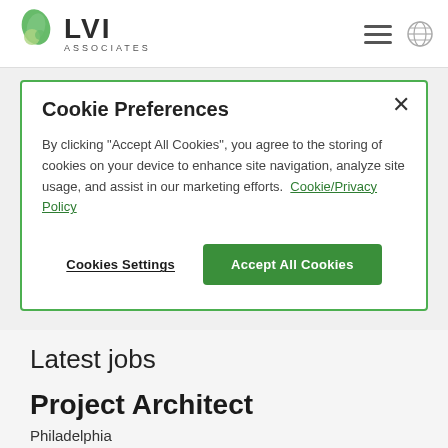LVI ASSOCIATES
Cookie Preferences
By clicking "Accept All Cookies", you agree to the storing of cookies on your device to enhance site navigation, analyze site usage, and assist in our marketing efforts.  Cookie/Privacy Policy
Cookies Settings   Accept All Cookies
Latest jobs
Project Architect
Philadelphia
Project Architect: RetailA well-established and